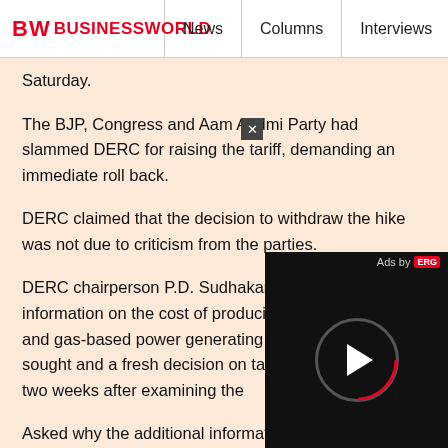BW BUSINESSWORLD | News | Columns | Interviews | BW
Saturday.
The BJP, Congress and Aam Aadmi Party had slammed DERC for raising the tariff, demanding an immediate roll back.
DERC claimed that the decision to withdraw the hike was not due to criticism from the parties.
DERC chairperson P.D. Sudhakar said additional information on the cost of producing of power from coal and gas-based power generating stations has been sought and a fresh decision on tariff will be taken within two weeks after examining the
Asked why the additional information and cost of power production was no he said the DERC had increased the and now it felt that the detail costing of the generating